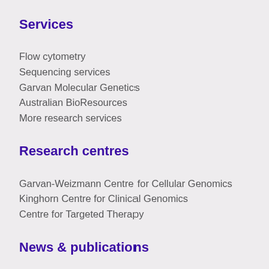Services
Flow cytometry
Sequencing services
Garvan Molecular Genetics
Australian BioResources
More research services
Research centres
Garvan-Weizmann Centre for Cellular Genomics
Kinghorn Centre for Clinical Genomics
Centre for Targeted Therapy
News & publications